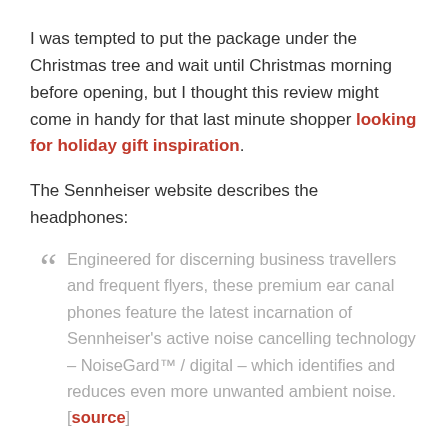I was tempted to put the package under the Christmas tree and wait until Christmas morning before opening, but I thought this review might come in handy for that last minute shopper looking for holiday gift inspiration.
The Sennheiser website describes the headphones:
" Engineered for discerning business travellers and frequent flyers, these premium ear canal phones feature the latest incarnation of Sennheiser's active noise cancelling technology – NoiseGard™ / digital – which identifies and reduces even more unwanted ambient noise. [source]